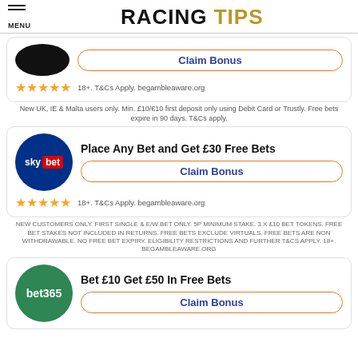RACING TIPS
[Figure (logo): Black circle logo (partially visible at top)]
Claim Bonus
18+. T&Cs Apply. begambleaware.org
New UK, IE & Malta users only. Min. £10/€10 first deposit only using Debit Card or Trustly. Free bets expire in 90 days. T&Cs apply.
[Figure (logo): Sky Bet logo - dark blue circle with sky and red bet text]
Place Any Bet and Get £30 Free Bets
Claim Bonus
18+. T&Cs Apply. begambleaware.org
NEW CUSTOMERS ONLY. FIRST SINGLE & E/W BET ONLY. 5P MINIMUM STAKE. 3 X £10 BET TOKENS. FREE BET STAKES NOT INCLUDED IN RETURNS. FREE BETS EXCLUDE VIRTUALS. FREE BETS ARE NON WITHDRAWABLE. NO FREE BET EXPIRY. ELIGIBILITY RESTRICTIONS AND FURTHER T&CS APPLY. 18+. BEGAMBLEAWARE.ORG
[Figure (logo): bet365 logo - green circle with bet365 white text]
Bet £10 Get £50 In Free Bets
Claim Bonus